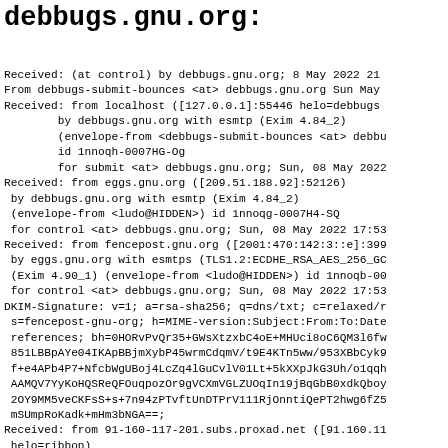debbugs.gnu.org:
Received: (at control) by debbugs.gnu.org; 8 May 2022 21
From debbugs-submit-bounces <at> debbugs.gnu.org Sun May
Received: from localhost ([127.0.0.1]:55446 helo=debbugs
        by debbugs.gnu.org with esmtp (Exim 4.84_2)
        (envelope-from <debbugs-submit-bounces <at> debbu
        id 1nnoqh-0007HG-Og
        for submit <at> debbugs.gnu.org; Sun, 08 May 2022
Received: from eggs.gnu.org ([209.51.188.92]:52126)
 by debbugs.gnu.org with esmtp (Exim 4.84_2)
 (envelope-from <ludo@HIDDEN>) id 1nnoqg-0007H4-SQ
 for control <at> debbugs.gnu.org; Sun, 08 May 2022 17:53
Received: from fencepost.gnu.org ([2001:470:142:3::e]:399
 by eggs.gnu.org with esmtps (TLS1.2:ECDHE_RSA_AES_256_GC
 (Exim 4.90_1) (envelope-from <ludo@HIDDEN>) id 1nnoqb-00
 for control <at> debbugs.gnu.org; Sun, 08 May 2022 17:53
DKIM-Signature: v=1; a=rsa-sha256; q=dns/txt; c=relaxed/r
 s=fencepost-gnu-org; h=MIME-version:Subject:From:To:Date
 references; bh=0HORvPvQr35+GWsXtzxbC4oE+MHUci8oC6QM3l6fw
 851LBBpAYe04IKApBBjmXybP45wrmCdqmV/t9E4KTn5ww/953XBbCyk9
 f+e4APb4P7+NfcbWgUBoj4LcZq4lGuCvlV01Lt+5kXXpJkG3Uh/o1qqh
 AAMQV7YyKoHQSReQFOuqpozOr9gVCXmVGLZUOqIn19jBqGbB0xdkQboy
 2OY9MM5veCKFsS+s+7n94zPTvftUnDTPrV111RjOnntiQePT2hwg6fZ5
 mSUmpRoKadk+mHm3bNGA==;
Received: from 91-160-117-201.subs.proxad.net ([91.160.11
 helo=ribbon)
 by fencepost.gnu.org with esmtpsa (TLS1.2:ECDHE_RSA_AES